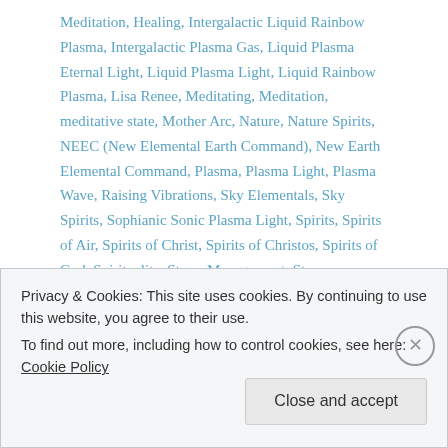Meditation, Healing, Intergalactic Liquid Rainbow Plasma, Intergalactic Plasma Gas, Liquid Plasma Eternal Light, Liquid Plasma Light, Liquid Rainbow Plasma, Lisa Renee, Meditating, Meditation, meditative state, Mother Arc, Nature, Nature Spirits, NEEC (New Elemental Earth Command), New Earth Elemental Command, Plasma, Plasma Light, Plasma Wave, Raising Vibrations, Sky Elementals, Sky Spirits, Sophianic Sonic Plasma Light, Spirits, Spirits of Air, Spirits of Christ, Spirits of Christos, Spirits of God, Spirituality, Stress Management, Stress Reduction   0 Comments
Privacy & Cookies: This site uses cookies. By continuing to use this website, you agree to their use.
To find out more, including how to control cookies, see here: Cookie Policy